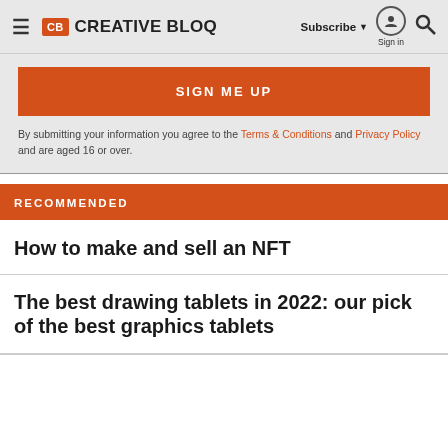Creative Bloq — Subscribe | Sign in | Search
SIGN ME UP
By submitting your information you agree to the Terms & Conditions and Privacy Policy and are aged 16 or over.
RECOMMENDED
How to make and sell an NFT
The best drawing tablets in 2022: our pick of the best graphics tablets